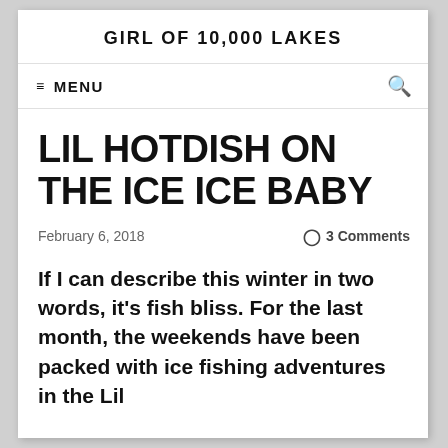GIRL OF 10,000 LAKES
≡ MENU
LIL HOTDISH ON THE ICE ICE BABY
February 6, 2018     ○ 3 Comments
If I can describe this winter in two words, it's fish bliss. For the last month, the weekends have been packed with ice fishing adventures in the Lil